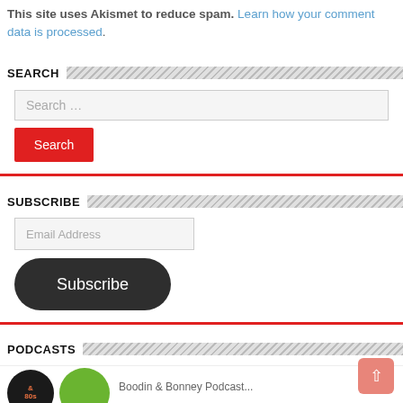This site uses Akismet to reduce spam. Learn how your comment data is processed.
SEARCH
[Figure (screenshot): Search input field with placeholder text 'Search ...']
[Figure (screenshot): Red 'Search' button]
SUBSCRIBE
[Figure (screenshot): Email Address input field]
[Figure (screenshot): Dark rounded 'Subscribe' button]
PODCASTS
[Figure (screenshot): Podcast thumbnail images at the bottom of the page]